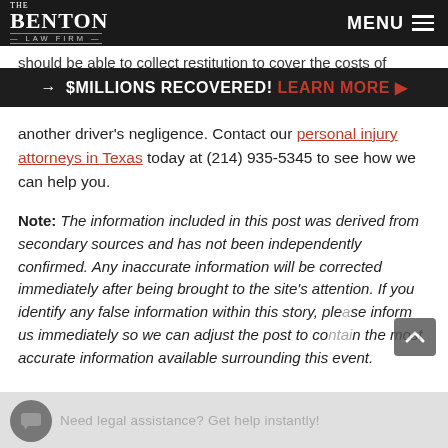The Benton Law Firm — MENU
should be able to collect restitution to cover the costs of
→ $MILLIONS RECOVERED! LEARN MORE ▶
another driver's negligence. Contact our personal injury attorneys in Texas today at (214) 935-5345 to see how we can help you.
Note: The information included in this post was derived from secondary sources and has not been independently confirmed. Any inaccurate information will be corrected immediately after being brought to the site's attention. If you identify any false information within this story, please inform us immediately so we can adjust the post to contain the most accurate information available surrounding this event.